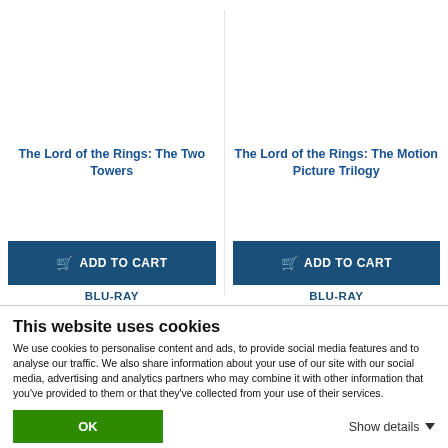The Lord of the Rings: The Two Towers
The Lord of the Rings: The Motion Picture Trilogy
ADD TO CART
ADD TO CART
BLU-RAY
BLU-RAY
This website uses cookies
We use cookies to personalise content and ads, to provide social media features and to analyse our traffic. We also share information about your use of our site with our social media, advertising and analytics partners who may combine it with other information that you've provided to them or that they've collected from your use of their services.
OK
Show details